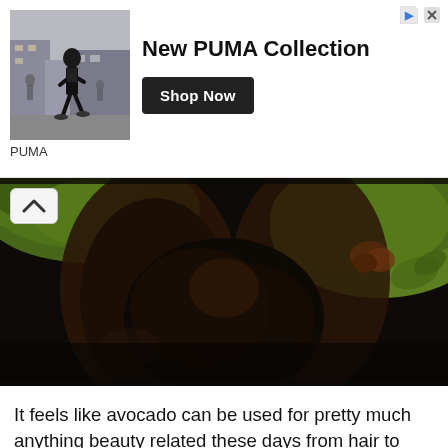[Figure (infographic): Advertisement banner for PUMA featuring a runner on a city street, text 'New PUMA Collection', a 'Shop Now' button, and the PUMA logo label below the image.]
[Figure (photo): Close-up photo of avocados showing green skin and dark brown interior, dark background. A scroll-up chevron button overlays the top-left corner.]
It feels like avocado can be used for pretty much anything beauty related these days from hair to skin, and the eye area is certainly no exception. If you don't mind getting a but sticky, try smearing some mashed up avocado over your eyes, this process gives an amazing boost of moisture and hydration for the surrounding skin. As a general